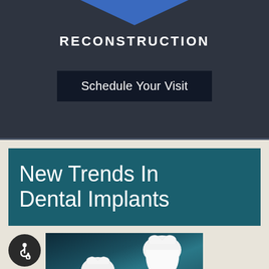[Figure (logo): Blue triangle/arrow shape pointing downward above RECONSTRUCTION text]
RECONSTRUCTION
Schedule Your Visit
New Trends In Dental Implants
[Figure (photo): Photo of two white dental implant crowns on a teal/dark background, one standalone crown and one on a metal implant post]
[Figure (illustration): Wheelchair accessibility icon in a dark circular badge]